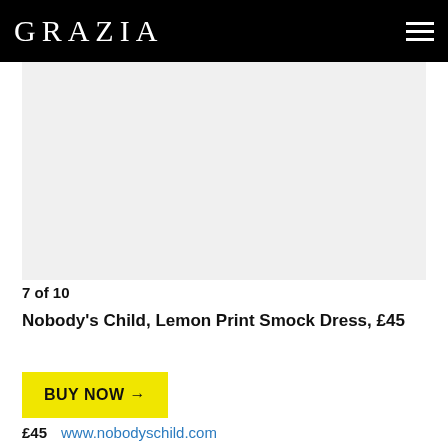GRAZIA
[Figure (photo): Product image placeholder area (light grey background), showing a clothing item from Grazia magazine slideshow]
7 of 10
Nobody's Child, Lemon Print Smock Dress, £45
BUY NOW →
£45  www.nobodyschild.com